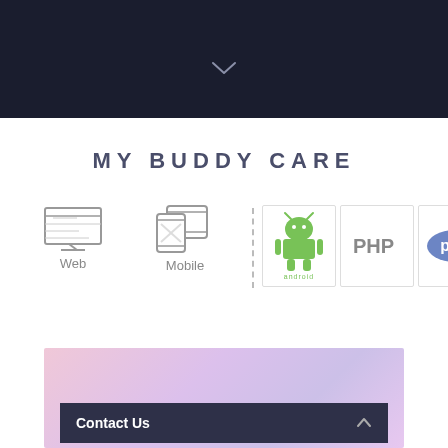[Figure (screenshot): Dark navy top banner with a downward chevron arrow icon centered]
MY BUDDY CARE
[Figure (illustration): Web icon (laptop/newspaper outline) with label 'Web']
[Figure (illustration): Mobile icon (tablet/phone outline) with label 'Mobile']
[Figure (logo): Android logo with android robot icon and 'android' text below]
[Figure (logo): PHP text logo placeholder image]
[Figure (logo): PHP elephant logo in blue oval badge]
[Figure (screenshot): Pink/lavender gradient background area at bottom]
Contact Us